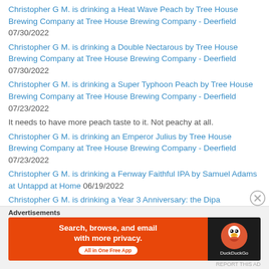Christopher G M. is drinking a Heat Wave Peach by Tree House Brewing Company at Tree House Brewing Company - Deerfield 07/30/2022
Christopher G M. is drinking a Double Nectarous by Tree House Brewing Company at Tree House Brewing Company - Deerfield 07/30/2022
Christopher G M. is drinking a Super Typhoon Peach by Tree House Brewing Company at Tree House Brewing Company - Deerfield 07/23/2022
It needs to have more peach taste to it. Not peachy at all.
Christopher G M. is drinking an Emperor Julius by Tree House Brewing Company at Tree House Brewing Company - Deerfield 07/23/2022
Christopher G M. is drinking a Fenway Faithful IPA by Samuel Adams at Untappd at Home 06/19/2022
Christopher G M. is drinking a Year 3 Anniversary: the Dipa W/Hibiscus by Two Weeks Notice Brewing Company at Two Weeks Notice Brewing Co. 06/18/2022
Advertisements
[Figure (screenshot): DuckDuckGo advertisement banner: orange background on left with text 'Search, browse, and email with more privacy. All in One Free App', and dark background on right with DuckDuckGo logo and name.]